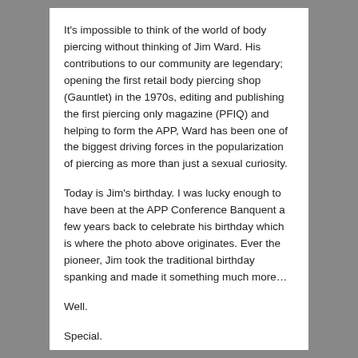It's impossible to think of the world of body piercing without thinking of Jim Ward. His contributions to our community are legendary; opening the first retail body piercing shop (Gauntlet) in the 1970s, editing and publishing the first piercing only magazine (PFIQ) and helping to form the APP, Ward has been one of the biggest driving forces in the popularization of piercing as more than just a sexual curiosity.
Today is Jim's birthday. I was lucky enough to have been at the APP Conference Banquent a few years back to celebrate his birthday which is where the photo above originates. Ever the pioneer, Jim took the traditional birthday spanking and made it something much more…
Well.
Special.
Happy birthday Jim; you're an inspiration to us all!